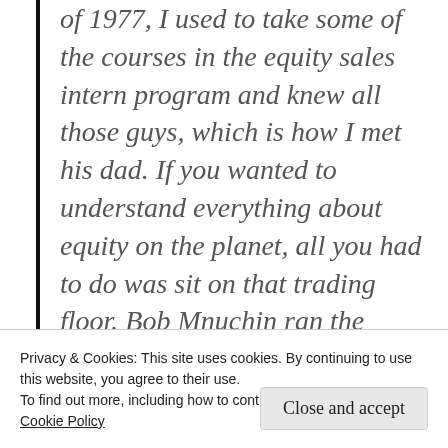of 1977, I used to take some of the courses in the equity sales intern program and knew all those guys, which is how I met his dad. If you wanted to understand everything about equity on the planet, all you had to do was sit on that trading floor. Bob Mnuchin ran the arbitrage desk on that trading floor. You’re talking about somebody with unbelievably deep ties for generations in the equity world.”
Privacy & Cookies: This site uses cookies. By continuing to use this website, you agree to their use.
To find out more, including how to control cookies, see here:
Cookie Policy